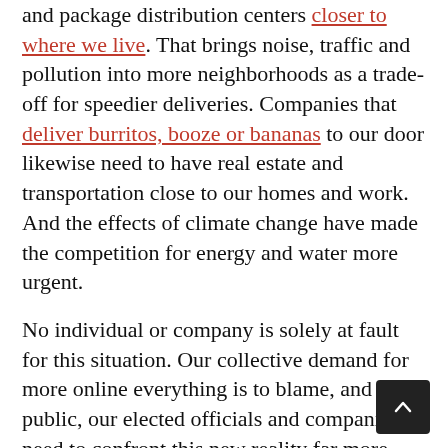and package distribution centers closer to where we live. That brings noise, traffic and pollution into more neighborhoods as a trade-off for speedier deliveries. Companies that deliver burritos, booze or bananas to our door likewise need to have real estate and transportation close to our homes and work. And the effects of climate change have made the competition for energy and water more urgent.
No individual or company is solely at fault for this situation. Our collective demand for more online everything is to blame, and the public, our elected officials and companies need to confront this new reality far more directly.
An article this week by The Information (subscription required) about clashes over Amazon package operations in Milford, Mass., mentioned that the company formed a task force last year to address communities' concerns about the repercussions of its delivery operations. Milford